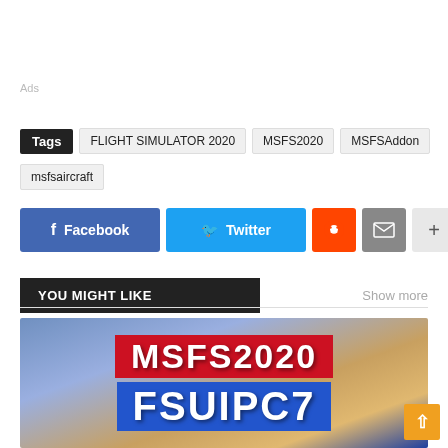Ads
Tags  FLIGHT SIMULATOR 2020  MSFS2020  MSFSAddon  msfsaircraft
[Figure (infographic): Social share buttons: Facebook (blue), Twitter (light blue), Reddit (orange), Email (grey), Plus (light grey)]
YOU MIGHT LIKE
Show more
[Figure (photo): Promotional banner image showing MSFS2020 FSUIPC7 text over a blurred airplane background with sunset colors]